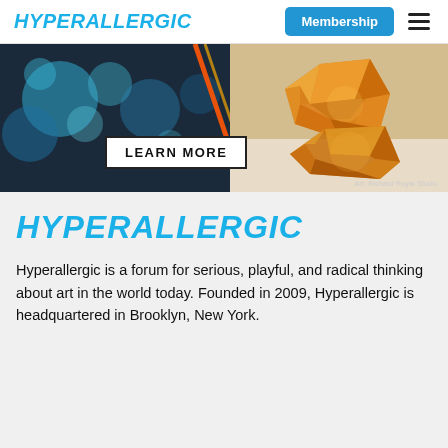HYPERALLERGIC
[Figure (photo): Advertisement banner featuring abstract colorful bokeh light photography on the left and an amber/orange geometric faceted glass sculpture on the right, with a 'LEARN MORE' button overlay and 'Art: Richard Royal Studio' credit at bottom right.]
HYPERALLERGIC
Hyperallergic is a forum for serious, playful, and radical thinking about art in the world today. Founded in 2009, Hyperallergic is headquartered in Brooklyn, New York.